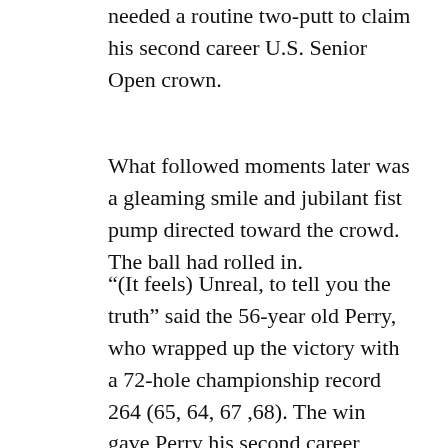needed a routine two-putt to claim his second career U.S. Senior Open crown.
What followed moments later was a gleaming smile and jubilant fist pump directed toward the crowd. The ball had rolled in.
“(It feels) Unreal, to tell you the truth” said the 56-year old Perry, who wrapped up the victory with a 72-hole championship record 264 (65, 64, 67 ,68). The win gave Perry his second career Francis Ouimet Trophy, his first coming at Nebraska’s Omaha Country Club back in 2013.
“It’s our goal to always win our championship and I never could get it done on the regular Tour,” added Perry. “It’s such and honor for me to represent this